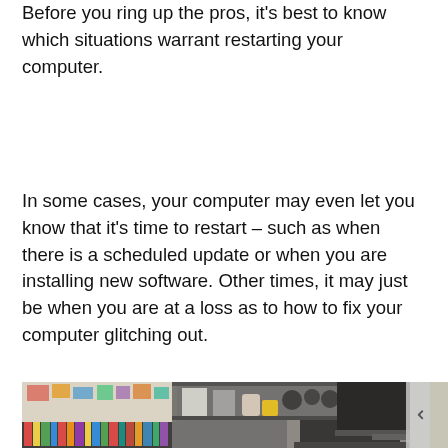Before you ring up the pros, it's best to know which situations warrant restarting your computer.
In some cases, your computer may even let you know that it's time to restart – such as when there is a scheduled update or when you are installing new software. Other times, it may just be when you are at a loss as to how to fix your computer glitching out.
[Figure (photo): A home office desk setup showing a laptop and monitor on a desk, with a bookshelf filled with books and colorful items, and a pegboard with notes and papers in the background. The image is partially visible, cropped at the bottom of the page.]